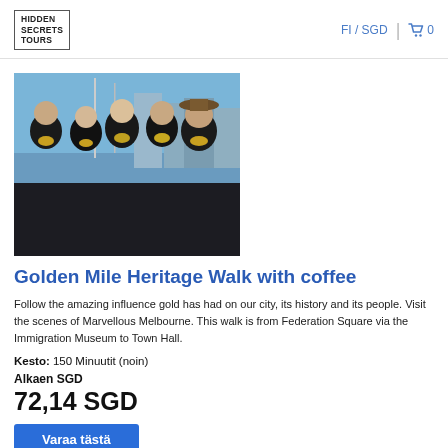HIDDEN SECRETS TOURS | FI / SGD | 🛒 0
[Figure (photo): Group of five people dressed in black with gold scarves posing together outdoors with a city skyline and blue sky in the background.]
Golden Mile Heritage Walk with coffee
Follow the amazing influence gold has had on our city, its history and its people. Visit the scenes of Marvellous Melbourne. This walk is from Federation Square via the Immigration Museum to Town Hall.
Kesto: 150 Minuutit (noin)
Alkaen SGD
72,14 SGD
Varaa tästä